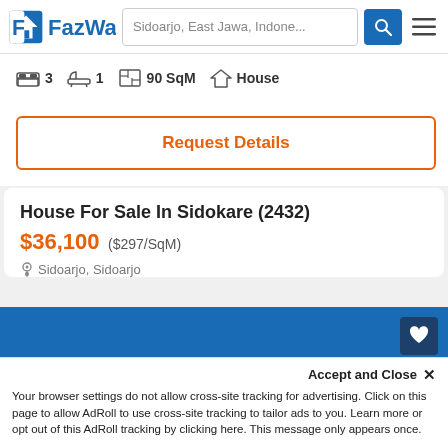FazWaz — Sidoarjo, East Jawa, Indone...
3 bedrooms · 1 bathroom · 90 SqM · House
Request Details
House For Sale In Sidokare (2432)
$36,100 ($297/SqM)
Sidoarjo, Sidoarjo
[Figure (photo): Blue background property listing image with a white roof/house shape silhouette at the bottom, with a heart (favourite) button and a swap/compare button on the right side.]
Accept and Close ✕
Your browser settings do not allow cross-site tracking for advertising. Click on this page to allow AdRoll to use cross-site tracking to tailor ads to you. Learn more or opt out of this AdRoll tracking by clicking here. This message only appears once.